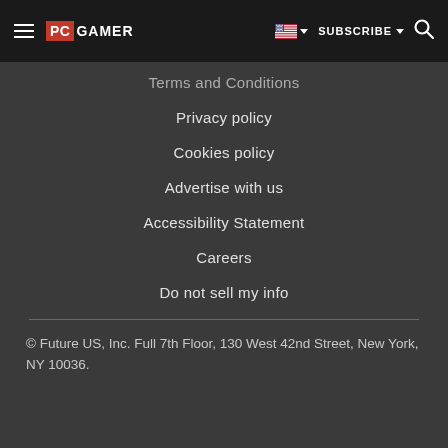PC GAMER — SUBSCRIBE
Terms and Conditions
Privacy policy
Cookies policy
Advertise with us
Accessibility Statement
Careers
Do not sell my info
© Future US, Inc. Full 7th Floor, 130 West 42nd Street, New York, NY 10036.